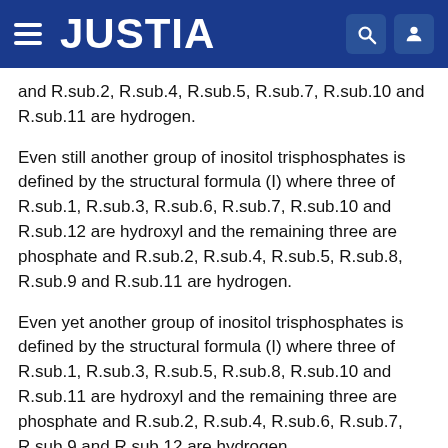JUSTIA
and R.sub.2, R.sub.4, R.sub.5, R.sub.7, R.sub.10 and R.sub.11 are hydrogen.
Even still another group of inositol trisphosphates is defined by the structural formula (I) where three of R.sub.1, R.sub.3, R.sub.6, R.sub.7, R.sub.10 and R.sub.12 are hydroxyl and the remaining three are phosphate and R.sub.2, R.sub.4, R.sub.5, R.sub.8, R.sub.9 and R.sub.11 are hydrogen.
Even yet another group of inositol trisphosphates is defined by the structural formula (I) where three of R.sub.1, R.sub.3, R.sub.5, R.sub.8, R.sub.10 and R.sub.11 are hydroxyl and the remaining three are phosphate and R.sub.2, R.sub.4, R.sub.6, R.sub.7, R.sub.9 and R.sub.12 are hydrogen.
Finally, another group of inositol trisphosphates is